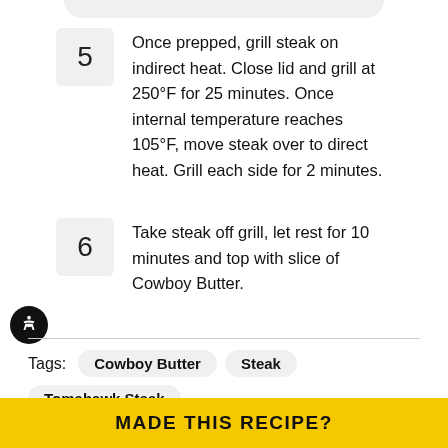5 Once prepped, grill steak on indirect heat. Close lid and grill at 250°F for 25 minutes. Once internal temperature reaches 105°F, move steak over to direct heat. Grill each side for 2 minutes.
6 Take steak off grill, let rest for 10 minutes and top with slice of Cowboy Butter.
Tags: Cowboy Butter  Steak  Tomahawk Steak
MADE THIS RECIPE?